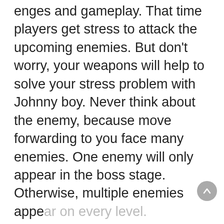enges and gameplay. That time players get stress to attack the upcoming enemies. But don't worry, your weapons will help to solve your stress problem with Johnny boy. Never think about the enemy, because move forwarding to you face many enemies. One enemy will only appear in the boss stage. Otherwise, multiple enemies appear on every level.
expand all ∨
Relevant recommendations
[Figure (other): App icon for Madden NFL Overdrive with cartoon girl character on tropical background]
Madden NFL Overdrive
DownLoad
[Figure (other): Grey placeholder app icon for PAC-MAN GEO(no adds)]
PAC-MAN GEO(no adds)
DownLoad
[Figure (other): App icon for download game dream league with yellow soccer ball on blue background]
download game dream league
DownLoad
[Figure (other): Grey placeholder app icon for Truck Speed Driving 3D]
Truck Speed Driving 3D
DownLoad